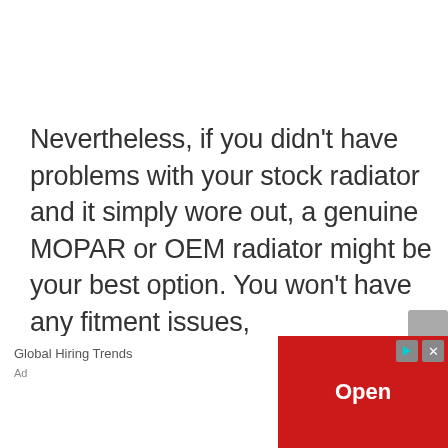Nevertheless, if you didn't have problems with your stock radiator and it simply wore out, a genuine MOPAR or OEM radiator might be your best option. You won't have any fitment issues,
[Figure (other): Advertisement overlay: 'Global Hiring Trends' ad with red 'Open' button, play and close controls, and 'Ad' label]